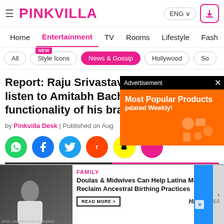PINKVILLA — ENG — Navigation
Home | Entertainment | TV | Rooms | Lifestyle | Fash
All | Style Icons (NEW) | News & Gossip | Hollywood | So
Report: Raju Srivastava being made to listen to Amitabh Bachchan's v... functionality of his brain...
by Pinkvilla Desk | Published on Aug
[Figure (screenshot): Social share icons: WhatsApp, Facebook, Twitter, Reddit, Snapchat, pink icon]
[Figure (screenshot): Advertisement overlay: Most Popular Products, Updated Weekly! with orange background and product icons]
[Figure (screenshot): Promo card: FAMILY - Doulas & Midwives Can Help Latina Moms Reclaim Ancestral Birthing Practices - HipLATINA - READ MORE button, with photo of woman]